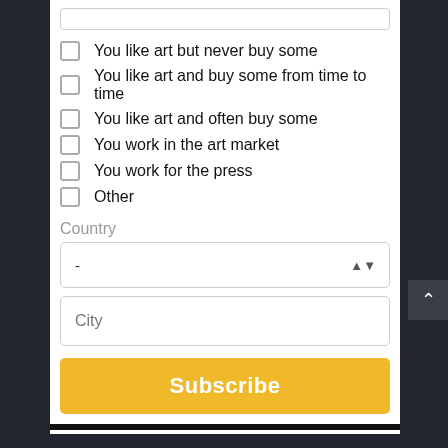You like art but never buy some
You like art and buy some from time to time
You like art and often buy some
You work in the art market
You work for the press
Other
Country
-
City
Subscribe